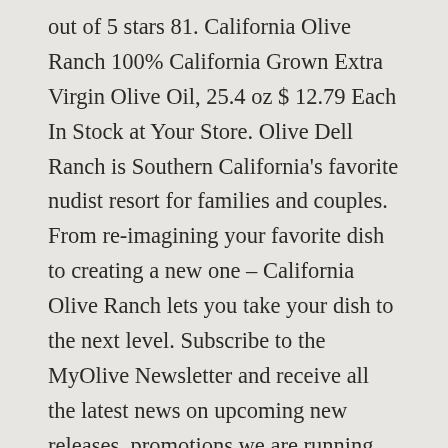out of 5 stars 81. California Olive Ranch 100% California Grown Extra Virgin Olive Oil, 25.4 oz $ 12.79 Each In Stock at Your Store. Olive Dell Ranch is Southern California's favorite nudist resort for families and couples. From re-imagining your favorite dish to creating a new one – California Olive Ranch lets you take your dish to the next level. Subscribe to the MyOlive Newsletter and receive all the latest news on upcoming new releases, promotions we are running, and any other little goodies we think you'll love. They provided everything you could hope for from a standard campsite including a very clean port-a-potty, potable water, and access to electricity. California Olive Ranch is Americaâ€™s largest grower and